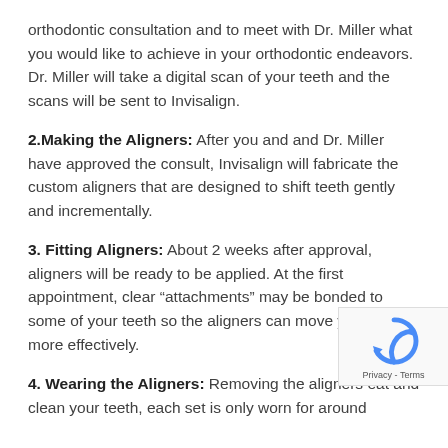orthodontic consultation and to meet with Dr. Miller what you would like to achieve in your orthodontic endeavors. Dr. Miller will take a digital scan of your teeth and the scans will be sent to Invisalign.
2. Making the Aligners: After you and and Dr. Miller have approved the consult, Invisalign will fabricate the custom aligners that are designed to shift teeth gently and incrementally.
3. Fitting Aligners: About 2 weeks after approval, aligners will be ready to be applied. At the first appointment, clear "attachments" may be bonded to some of your teeth so the aligners can move your teeth more effectively.
4. Wearing the Aligners: Removing the aligners eat and clean your teeth, each set is only worn for around